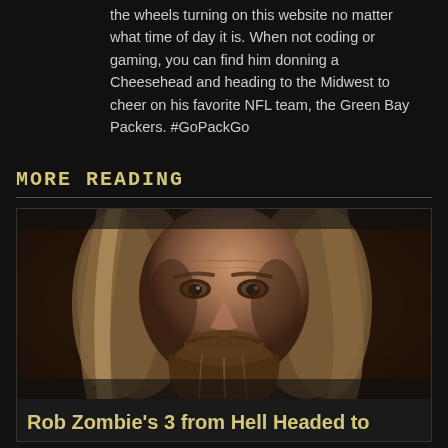the wheels turning on this website no matter what time of day it is. When not coding or gaming, you can find him donning a Cheesehead and heading to the Midwest to cheer on his favorite NFL team, the Green Bay Packers. #GoPackGo
MORE READING
[Figure (photo): Close-up portrait of an older man with long gray-brown hair and a beard, looking directly at the camera with a serious expression. Warm, dramatic lighting.]
Rob Zombie's 3 from Hell Headed to